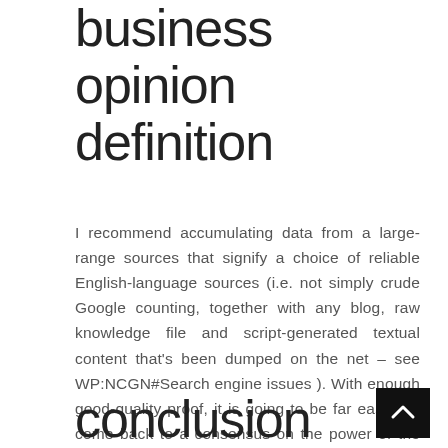business opinion definition
I recommend accumulating data from a large-range sources that signify a choice of reliable English-language sources (i.e. not simply crude Google counting, together with any blog, raw knowledge file and script-generated textual content that's been dumped on the net – see WP:NCGN#Search engine issues ). With enough good-quality proof, it is going to be far easier to come back to a consensus on the power of the case.
conclusion